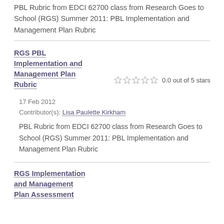PBL Rubric from EDCI 62700 class from Research Goes to School (RGS) Summer 2011: PBL Implementation and Management Plan Rubric
RGS PBL Implementation and Management Plan Rubric
0.0 out of 5 stars
17 Feb 2012
Contributor(s): Lisa Paulette Kirkham
PBL Rubric from EDCI 62700 class from Research Goes to School (RGS) Summer 2011: PBL Implementation and Management Plan Rubric
RGS Implementation and Management Plan Assessment